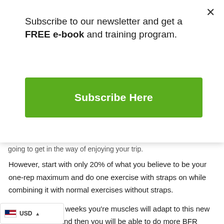Subscribe to our newsletter and get a FREE e-book and training program.
[Figure (other): Green Subscribe Here button]
going to get in the way of enjoying your trip.
However, start with only 20% of what you believe to be your one-rep maximum and do one exercise with straps on while combining it with normal exercises without straps.
After a couple of weeks you're muscles will adapt to this new type of training and then you will be able to do more BFR exercises without it being too painful.
a result, you're able to get more from your